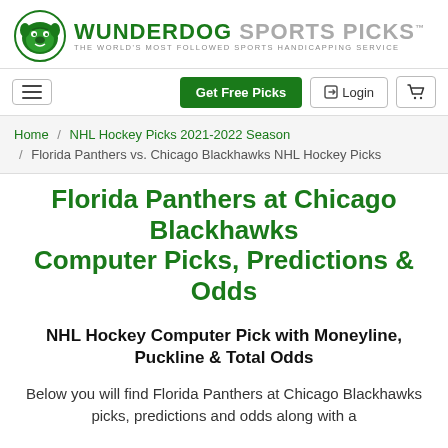[Figure (logo): Wunderdog Sports Picks logo with bulldog icon. Text reads WUNDERDOG SPORTS PICKS with tagline THE WORLD'S MOST FOLLOWED SPORTS HANDICAPPING SERVICE]
[Figure (other): Navigation bar with hamburger menu button, Get Free Picks green button, Login button, and shopping cart button]
Home / NHL Hockey Picks 2021-2022 Season / Florida Panthers vs. Chicago Blackhawks NHL Hockey Picks
Florida Panthers at Chicago Blackhawks Computer Picks, Predictions & Odds
NHL Hockey Computer Pick with Moneyline, Puckline & Total Odds
Below you will find Florida Panthers at Chicago Blackhawks picks, predictions and odds along with a